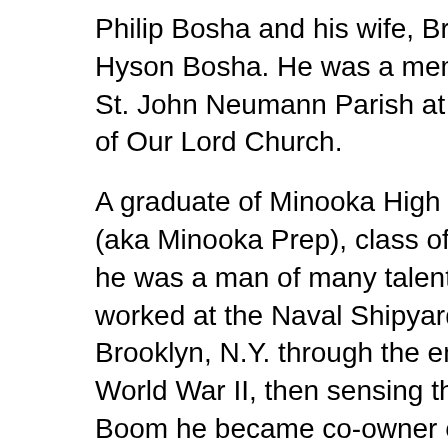Philip Bosha and his wife, Brenda Hyson Bosha. He was a member of St. John Neumann Parish at Nativity of Our Lord Church.
A graduate of Minooka High School (aka Minooka Prep), class of 1941, he was a man of many talents. He worked at the Naval Shipyards in Brooklyn, N.Y. through the end of World War II, then sensing the Baby Boom he became co-owner of a juvenile furniture store, then a jewelry